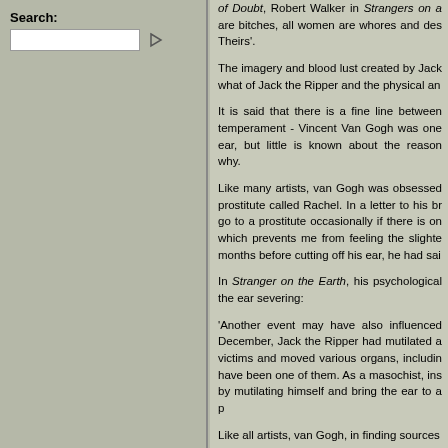Search:
of Doubt, Robert Walker in Strangers on a are bitches, all women are whores and des Theirs'.
The imagery and blood lust created by Jack what of Jack the Ripper and the physical an
It is said that there is a fine line between temperament - Vincent Van Gogh was one ear, but little is known about the reason why.
Like many artists, van Gogh was obsessed prostitute called Rachel. In a letter to his br go to a prostitute occasionally if there is on which prevents me from feeling the slight months before cutting off his ear, he had sa
In Stranger on the Earth, his psychological the ear severing:
'Another event may have also influenced December, Jack the Ripper had mutilated a victims and moved various organs, includin have been one of them. As a masochist, ins by mutilating himself and bring the ear to a p
Like all artists, van Gogh, in finding sources